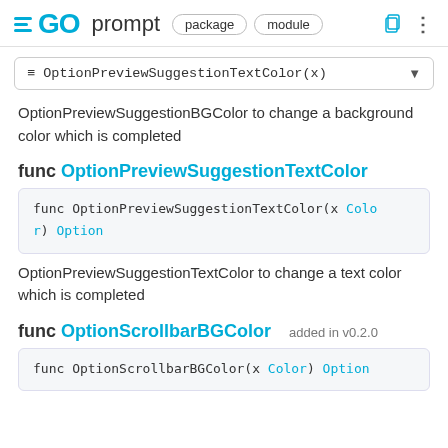GO prompt  package  module
≡ OptionPreviewSuggestionTextColor(x)
OptionPreviewSuggestionBGColor to change a background color which is completed
func OptionPreviewSuggestionTextColor
func OptionPreviewSuggestionTextColor(x Color) Option
OptionPreviewSuggestionTextColor to change a text color which is completed
func OptionScrollbarBGColor  added in v0.2.0
func OptionScrollbarBGColor(x Color) Option